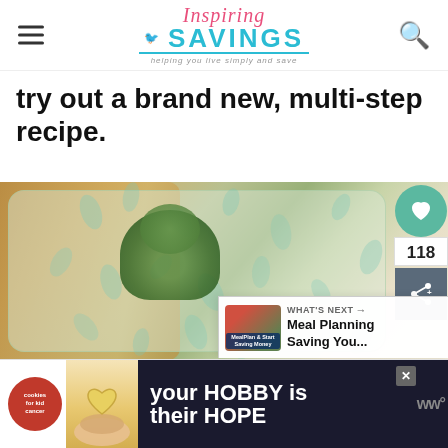Inspiring SAVINGS — helping you live simply and save
try out a brand new, multi-step recipe.
[Figure (photo): Photo of broccoli in a reusable silicone storage bag on a wooden cutting board, with decorative leaf/petal pattern overlay]
118
WHAT'S NEXT → Meal Planning Saving You...
[Figure (infographic): Advertisement banner: cookies for kid cancer logo with heart-shaped cookie, text 'your HOBBY is their HOPE']